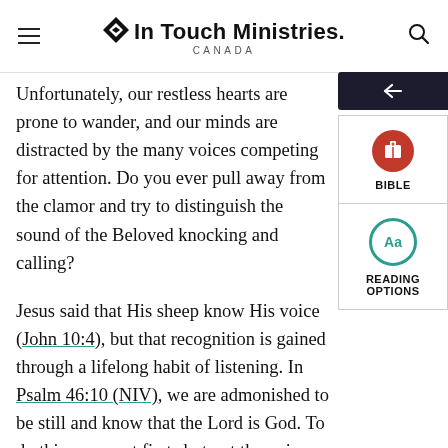In Touch Ministries CANADA
Unfortunately, our restless hearts are prone to wander, and our minds are distracted by the many voices competing for attention. Do you ever pull away from the clamor and try to distinguish the sound of the Beloved knocking and calling?
Jesus said that His sheep know His voice (John 10:4), but that recognition is gained through a lifelong habit of listening. In Psalm 46:10 (NIV), we are admonished to be still and know that the Lord is God. To do this, we must first shut out the noisy distractions of this world. Elijah is a good example—while standing on Mount Sinai, he expected God's presence would be in the wind, fire, and earthquake, but nothing happened until